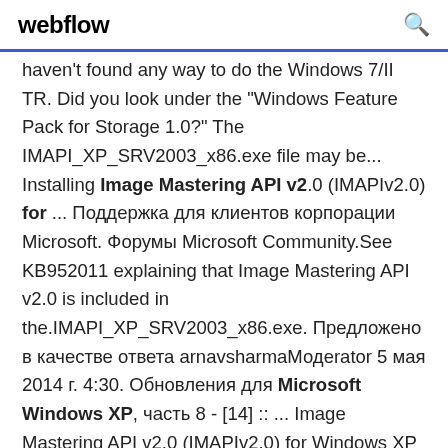webflow
haven't found any way to do the Windows 7/II TR. Did you look under the "Windows Feature Pack for Storage 1.0?" The IMAPI_XP_SRV2003_x86.exe file may be... Installing Image Mastering API v2.0 (IMAPIv2.0) for ... Поддержка для клиентов корпорации Microsoft. Форумы Microsoft Community.See KB952011 explaining that Image Mastering API v2.0 is included in the.IMAPI_XP_SRV2003_x86.exe. Предложено в качестве ответа arnavsharmaМодerator 5 мая 2014 г. 4:30. Обновления для Microsoft Windows XP, часть 8 - [14] :: ... Image Mastering API v2.0 (IMAPIv2.0) for Windows XP (KB932716). В "Рекомендации по обновлению ОС WinXP